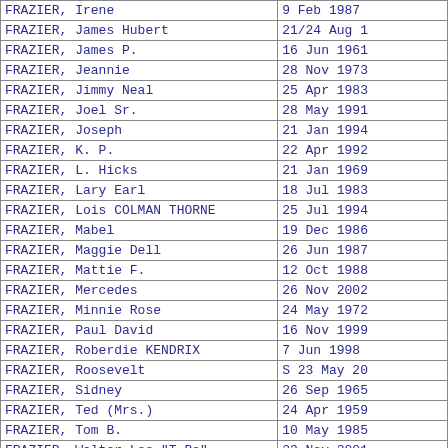| Name | Date |
| --- | --- |
| FRAZIER, Irene | 9 Feb 1987 |
| FRAZIER, James Hubert | 21/24 Aug 1 |
| FRAZIER, James P. | 16 Jun 1961 |
| FRAZIER, Jeannie | 28 Nov 1973 |
| FRAZIER, Jimmy Neal | 25 Apr 1983 |
| FRAZIER, Joel Sr. | 28 May 1991 |
| FRAZIER, Joseph | 21 Jan 1994 |
| FRAZIER, K. P. | 22 Apr 1992 |
| FRAZIER, L. Hicks | 21 Jan 1969 |
| FRAZIER, Lary Earl | 18 Jul 1983 |
| FRAZIER, Lois COLMAN THORNE | 25 Jul 1994 |
| FRAZIER, Mabel | 19 Dec 1986 |
| FRAZIER, Maggie Dell | 26 Jun 1987 |
| FRAZIER, Mattie F. | 12 Oct 1988 |
| FRAZIER, Mercedes | 26 Nov 2002 |
| FRAZIER, Minnie Rose | 24 May 1972 |
| FRAZIER, Paul David | 16 Nov 1999 |
| FRAZIER, Roberdie KENDRIX | 7 Jun 1998 |
| FRAZIER, Roosevelt | S 23 May 20 |
| FRAZIER, Sidney | 26 Sep 1965 |
| FRAZIER, Ted (Mrs.) | 24 Apr 1959 |
| FRAZIER, Tom B. | 10 May 1985 |
| FRAZIER, Walter Lee "T-Bo" | 23 Nov 2001 |
| FRAZIER, William Ramey | 10 Dec 1999 |
| FREDERICKSON, Lt. Col. Douglas C. | 2 Nov 1999 |
| FREEDMAN, Joel Ervin | 28 Jul 1982 |